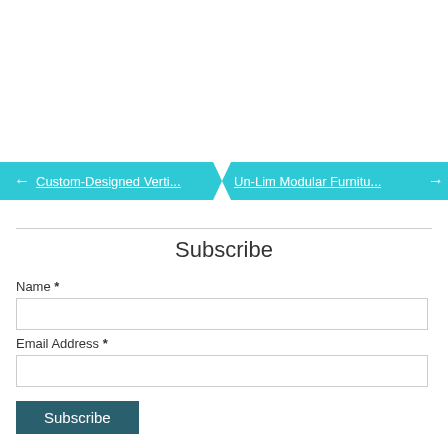[Figure (screenshot): Navigation buttons with cyan/teal background. Left button shows back arrow and truncated text 'Custom-Designed Verti...' and right button shows 'Un-Lim Modular Furnitu...' with a forward arrow.]
Subscribe
Name *
Email Address *
Subscribe